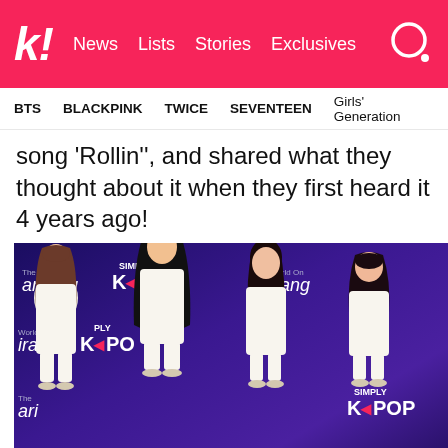k! News | Lists | Stories | Exclusives
BTS | BLACKPINK | TWICE | SEVENTEEN | Girls' Generation
song 'Rollin'', and shared what they thought about it when they first heard it 4 years ago!
[Figure (photo): Four members of Brave Girls in white naval officer uniforms posing in front of an Arirang TV / Simply K-Pop backdrop with purple background]